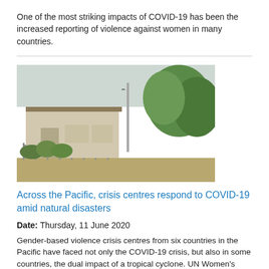One of the most striking impacts of COVID-19 has been the increased reporting of violence against women in many countries.
[Figure (photo): Outdoor photograph of a low single-story building with a gate and fence in front, trees in background, overcast sky — appears to be a crisis centre in a Pacific country.]
Across the Pacific, crisis centres respond to COVID-19 amid natural disasters
Date: Thursday, 11 June 2020
Gender-based violence crisis centres from six countries in the Pacific have faced not only the COVID-19 crisis, but also in some countries, the dual impact of a tropical cyclone. UN Women's Ending Violence Against Women and Girls programme works in close collaboration with government, civil society organisations, communities and other partners to promote gender equality, prevent violence against women and girls, and increase access to quality response services for survivors, especially during emergencies.